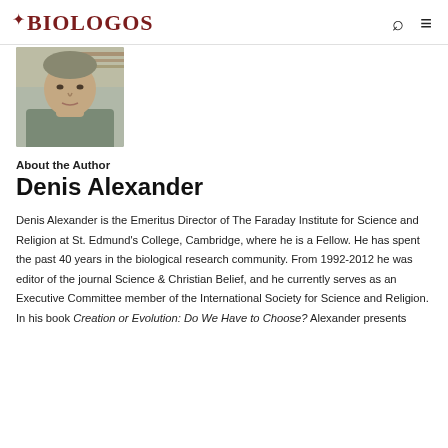BioLogos
[Figure (photo): Headshot photo of Denis Alexander, a man in a grey shirt, cropped to show face and upper chest, with shelves/papers in background]
About the Author
Denis Alexander
Denis Alexander is the Emeritus Director of The Faraday Institute for Science and Religion at St. Edmund's College, Cambridge, where he is a Fellow. He has spent the past 40 years in the biological research community. From 1992-2012 he was editor of the journal Science & Christian Belief, and he currently serves as an Executive Committee member of the International Society for Science and Religion. In his book Creation or Evolution: Do We Have to Choose? Alexander presents